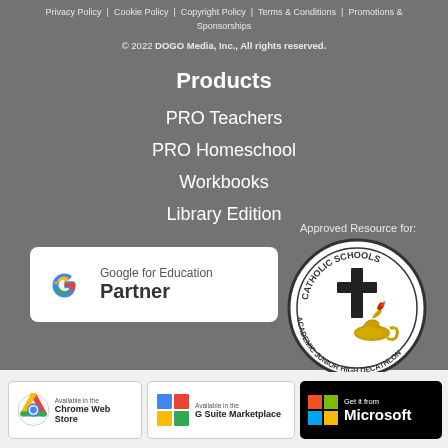Privacy Policy  Cookie Policy  Copyright Policy  Terms & Conditions  Promotions & Sponsorships
© 2022 DOGO Media, Inc., All rights reserved.
Products
PRO Teachers
PRO Homeschool
Workbooks
Library Edition
Approved Resource for:
[Figure (logo): Google for Education Partner badge — white rounded rectangle with multicolor Google G logo and text 'Google for Education Partner']
[Figure (logo): Catholic Schools Academic Junior High Decathlon circular seal with cross and lamp of knowledge]
[Figure (logo): Available in the Chrome Web Store badge]
[Figure (logo): Available in the G Suite Marketplace badge]
[Figure (logo): Get it from Microsoft badge — black rectangle with Microsoft Windows logo and text]